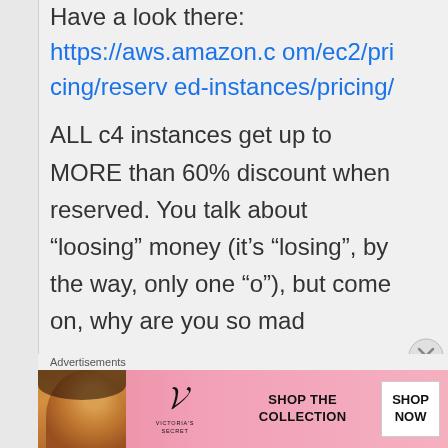Have a look there: https://aws.amazon.com/ec2/pricing/reserved-instances/pricing/
ALL c4 instances get up to MORE than 60% discount when reserved. You talk about “loosing” money (it’s “losing”, by the way, only one “o”), but come on, why are you so mad
Advertisements
[Figure (photo): Victoria's Secret advertisement banner with a model photo, Victoria's Secret logo, 'SHOP THE COLLECTION' text, and a 'SHOP NOW' button]